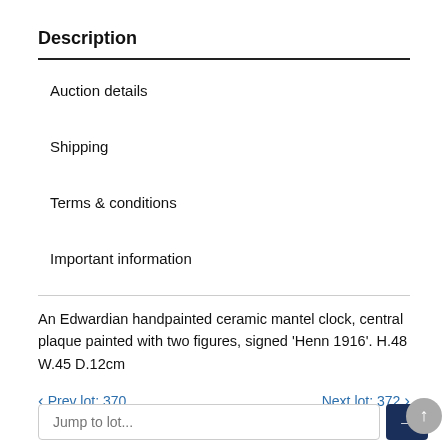Description
Auction details
Shipping
Terms & conditions
Important information
An Edwardian handpainted ceramic mantel clock, central plaque painted with two figures, signed 'Henn 1916'. H.48 W.45 D.12cm
Prev lot: 370   Next lot: 372
Jump to lot...